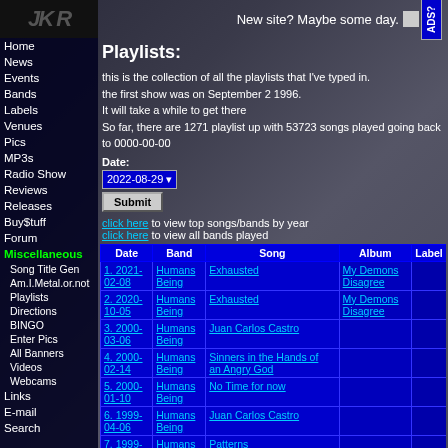New site? Maybe some day.  ADS?
Playlists:
this is the collection of all the playlists that I've typed in.
the first show was on September 2 1996.
It will take a while to get there
So far, there are 1271 playlist up with 53723 songs played going back to 0000-00-00
Date:
2022-08-29
Submit
click here to view top songs/bands by year
click here to view all bands played
| Date | Band | Song | Album | Label |
| --- | --- | --- | --- | --- |
| 1. 2021-02-08 | Humans Being | Exhausted | My Demons Disagree |  |
| 2. 2020-10-05 | Humans Being | Exhausted | My Demons Disagree |  |
| 3. 2000-03-06 | Humans Being | Juan Carlos Castro |  |  |
| 4. 2000-02-14 | Humans Being | Sinners in the Hands of an Angry God |  |  |
| 5. 2000-01-10 | Humans Being | No Time for now |  |  |
| 6. 1999-04-06 | Humans Being | Juan Carlos Castro |  |  |
| 7. 1999-... | Humans | Patterns |  |  |